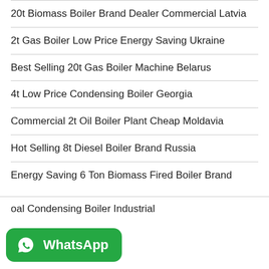20t Biomass Boiler Brand Dealer Commercial Latvia
2t Gas Boiler Low Price Energy Saving Ukraine
Best Selling 20t Gas Boiler Machine Belarus
4t Low Price Condensing Boiler Georgia
Commercial 2t Oil Boiler Plant Cheap Moldavia
Hot Selling 8t Diesel Boiler Brand Russia
Energy Saving 6 Ton Biomass Fired Boiler Brand
Coal Condensing Boiler Industrial
[Figure (other): WhatsApp contact button with phone icon and WhatsApp label on green rounded rectangle background]